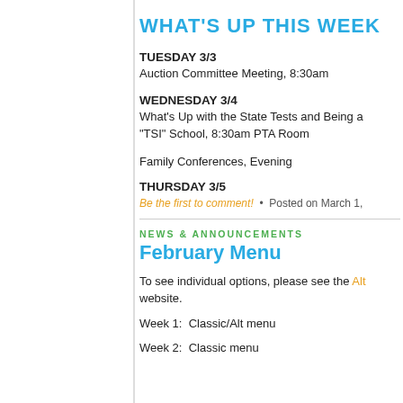WHAT'S UP THIS WEEK
TUESDAY 3/3
Auction Committee Meeting, 8:30am
WEDNESDAY 3/4
What's Up with the State Tests and Being a "TSI" School, 8:30am PTA Room
Family Conferences, Evening
THURSDAY 3/5
Be the first to comment!  •  Posted on March 1,
NEWS & ANNOUNCEMENTS
February Menu
To see individual options, please see the Alt... website.
Week 1:  Classic/Alt menu
Week 2:  Classic menu